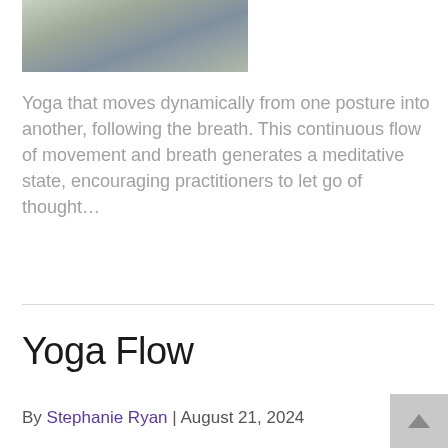[Figure (photo): Person sitting cross-legged on a wooden deck in yoga pose, wearing dark top and light leggings, with a fitness tracker on wrist]
Yoga that moves dynamically from one posture into another, following the breath. This continuous flow of movement and breath generates a meditative state, encouraging practitioners to let go of thought…
Read More
Yoga Flow
By Stephanie Ryan | August 21, 2024